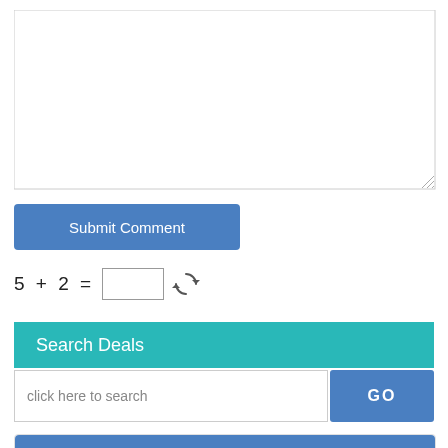[Figure (screenshot): Empty textarea input box with resize handle]
Submit Comment
Search Deals
click here to search
Pilgrimage Tours in India
Traveldealsfinder.com team offers latest 2022 pilgrimage tour packages and deals at discount offers. Check out latest packages and offers to Char Dham Yatra, Kailash